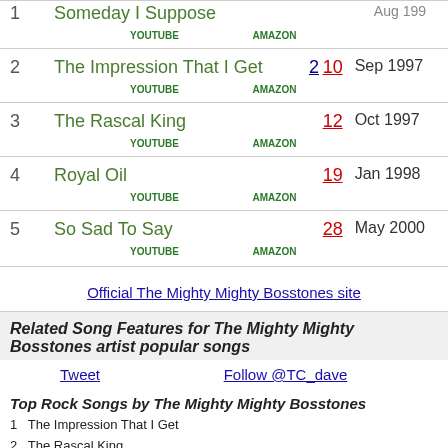| # | Song | Rank | Date |
| --- | --- | --- | --- |
| 2 | The Impression That I Get | 2 10 | Sep 1997 |
| 3 | The Rascal King | 12 | Oct 1997 |
| 4 | Royal Oil | 19 | Jan 1998 |
| 5 | So Sad To Say | 28 | May 2000 |
Official The Mighty Mighty Bosstones site
Related Song Features for The Mighty Mighty Bosstones artist popular songs
Tweet   Follow @TC_dave
Top Rock Songs by The Mighty Mighty Bosstones
1  The Impression That I Get
2  The Rascal King